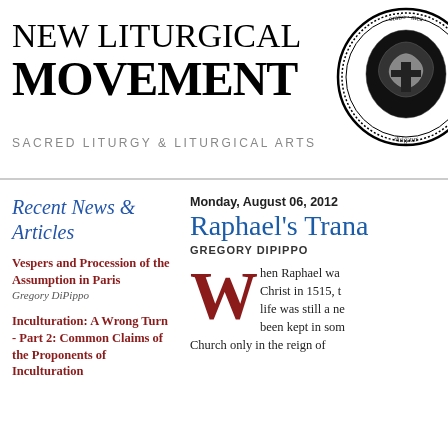NEW LITURGICAL MOVEMENT
SACRED LITURGY & LITURGICAL ARTS
[Figure (illustration): Circular seal/emblem with ornate religious imagery and text around the border]
Recent News & Articles
Vespers and Procession of the Assumption in Paris
Gregory DiPippo
Inculturation: A Wrong Turn - Part 2: Common Claims of the Proponents of Inculturation
Monday, August 06, 2012
Raphael's Trana
GREGORY DIPIPPO
When Raphael was... Christ in 1515, the life was still a ne... been kept in som... Church only in the reign of